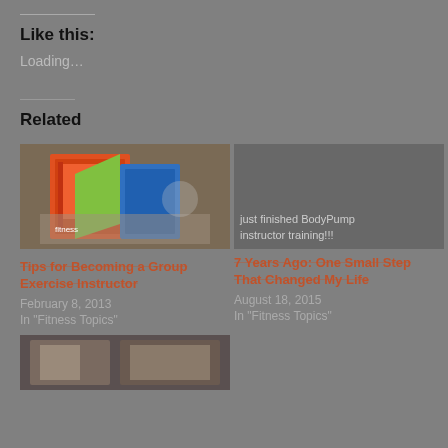Like this:
Loading…
Related
[Figure (photo): Book or fitness materials photo for Tips for Becoming a Group Exercise Instructor post]
Tips for Becoming a Group Exercise Instructor
February 8, 2013
In "Fitness Topics"
[Figure (photo): just finished BodyPump instructor training!!! image placeholder]
just finished BodyPump instructor training!!!
7 Years Ago: One Small Step That Changed My Life
August 18, 2015
In "Fitness Topics"
[Figure (photo): Partially visible image at bottom of page]